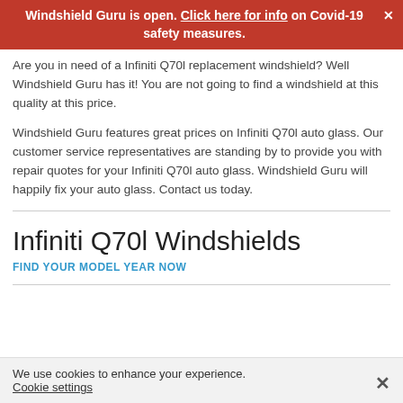Windshield Guru is open. Click here for info on Covid-19 safety measures.
Are you in need of a Infiniti Q70l replacement windshield? Well Windshield Guru has it! You are not going to find a windshield at this quality at this price.
Windshield Guru features great prices on Infiniti Q70l auto glass. Our customer service representatives are standing by to provide you with repair quotes for your Infiniti Q70l auto glass. Windshield Guru will happily fix your auto glass. Contact us today.
Infiniti Q70l Windshields
FIND YOUR MODEL YEAR NOW
We use cookies to enhance your experience.
Cookie settings